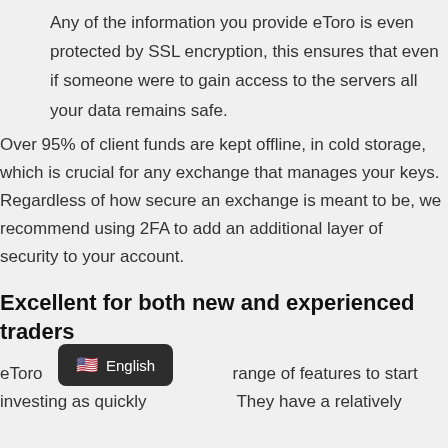Any of the information you provide eToro is even protected by SSL encryption, this ensures that even if someone were to gain access to the servers all your data remains safe.
Over 95% of client funds are kept offline, in cold storage, which is crucial for any exchange that manages your keys. Regardless of how secure an exchange is meant to be, we recommend using 2FA to add an additional layer of security to your account.
Excellent for both new and experienced traders
eToro range of features to start investing as quickly They have a relatively unique feature